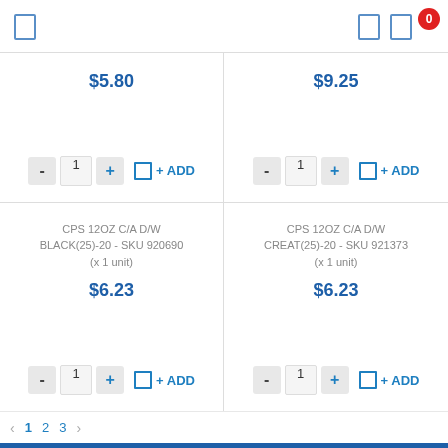Navigation icons and cart badge (0)
$5.80
$9.25
CPS 12OZ C/A D/W BLACK(25)-20 - SKU 920690 (x 1 unit)
CPS 12OZ C/A D/W CREAT(25)-20 - SKU 921373 (x 1 unit)
$6.23
$6.23
1  2  3